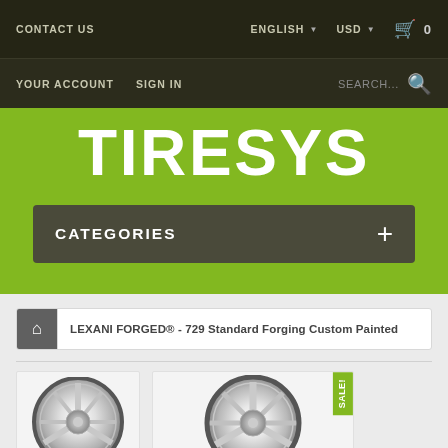CONTACT US | ENGLISH USD Cart 0
YOUR ACCOUNT   SIGN IN   SEARCH...
TIRESYS
CATEGORIES +
🏠 | LEXANI FORGED® - 729 Standard Forging Custom Painted
[Figure (photo): Two chrome alloy wheels side by side, partially visible. The right wheel has a green SALE! badge in the top-right corner.]